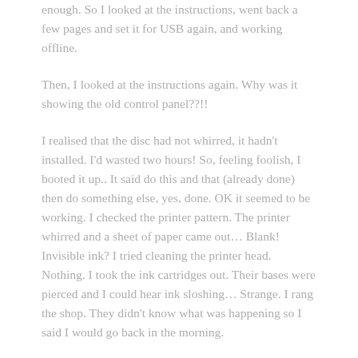enough. So I looked at the instructions, went back a few pages and set it for USB again, and working offline.
Then, I looked at the instructions again. Why was it showing the old control panel??!!
I realised that the disc had not whirred, it hadn't installed. I'd wasted two hours! So, feeling foolish, I booted it up.. It said do this and that (already done) then do something else, yes, done. OK it seemed to be working. I checked the printer pattern. The printer whirred and a sheet of paper came out… Blank! Invisible ink? I tried cleaning the printer head. Nothing. I took the ink cartridges out. Their bases were pierced and I could hear ink sloshing… Strange. I rang the shop. They didn't know what was happening so I said I would go back in the morning.
So.. I have a printer with ink, that is linked to the computer. But despite three hours, it won't print, there is